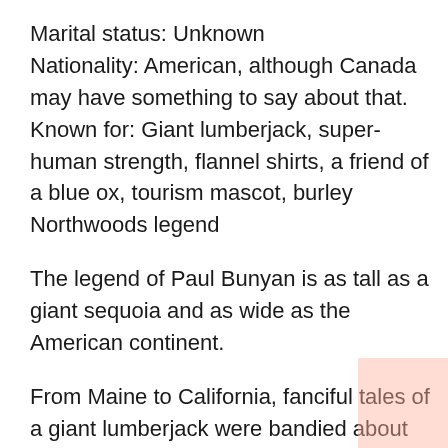Marital status: Unknown
Nationality: American, although Canada may have something to say about that.
Known for: Giant lumberjack, super-human strength, flannel shirts, a friend of a blue ox, tourism mascot, burley Northwoods legend
The legend of Paul Bunyan is as tall as a giant sequoia and as wide as the American continent.
From Maine to California, fanciful tales of a giant lumberjack were bandied about in logging camps from as far back as the mid-19th century. It wasn't until an ink-slinging